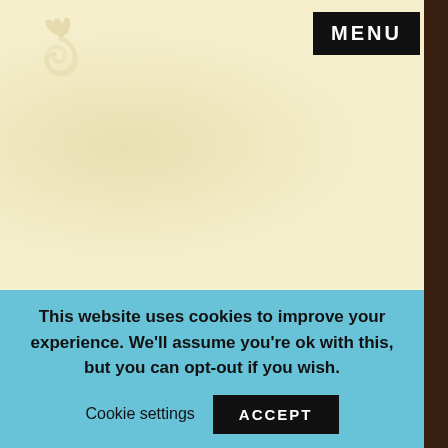[Figure (logo): Decorative swirl/plant logo in light color on cream background]
MENU
JUNE CORAL GARDENING FIJI ITINERARY
This website uses cookies to improve your experience. We'll assume you're ok with this, but you can opt-out if you wish.
Cookie settings   ACCEPT